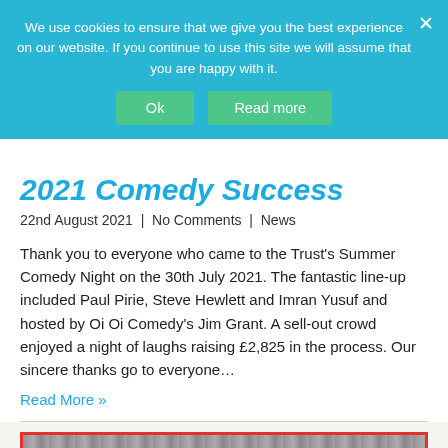We use cookies to ensure that we give you the best experience on our website. If you continue to use this site we will assume that you are happy with it.
2021 Comedy Success
22nd August 2021  |  No Comments  |  News
Thank you to everyone who came to the Trust's Summer Comedy Night on the 30th July 2021. The fantastic line-up included Paul Pirie, Steve Hewlett and Imran Yusuf and hosted by Oi Oi Comedy's Jim Grant. A sell-out crowd enjoyed a night of laughs raising £2,825 in the process. Our sincere thanks go to everyone…
Read More »
[Figure (photo): Partially visible image at the bottom of the page with red border]